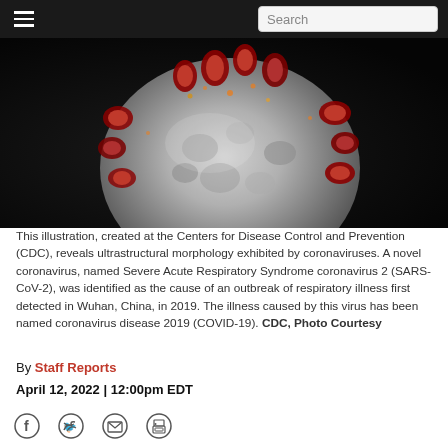☰  Search
[Figure (photo): Close-up illustration of a coronavirus particle showing red spike proteins on a grey spherical surface against a dark background, created at the CDC.]
This illustration, created at the Centers for Disease Control and Prevention (CDC), reveals ultrastructural morphology exhibited by coronaviruses. A novel coronavirus, named Severe Acute Respiratory Syndrome coronavirus 2 (SARS-CoV-2), was identified as the cause of an outbreak of respiratory illness first detected in Wuhan, China, in 2019. The illness caused by this virus has been named coronavirus disease 2019 (COVID-19). CDC, Photo Courtesy
By Staff Reports
April 12, 2022 | 12:00pm EDT
[Figure (other): Social sharing icons: Facebook, Twitter, Email, Print]